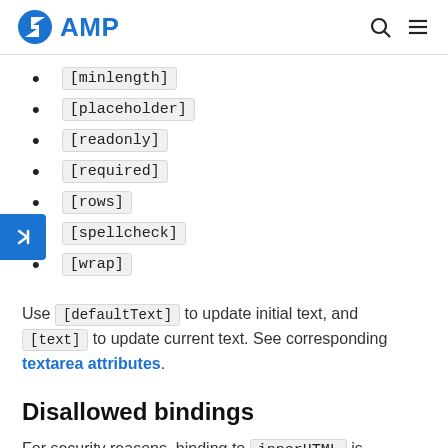AMP
[minlength]
[placeholder]
[readonly]
[required]
[rows]
[spellcheck]
[wrap]
Use [defaultText] to update initial text, and [text] to update current text. See corresponding textarea attributes.
Disallowed bindings
For security reasons, binding to innerHTML is